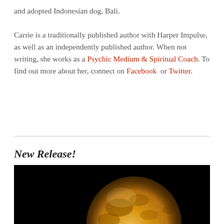and adopted Indonesian dog, Bali.

Carrie is a traditionally published author with Harper Impulse, as well as an independently published author. When not writing, she works as a Psychic Medium & Spiritual Coach. To find out more about her, connect on Facebook or Twitter.
New Release!
[Figure (photo): A large golden-orange full moon against a black background, showing surface details and craters.]